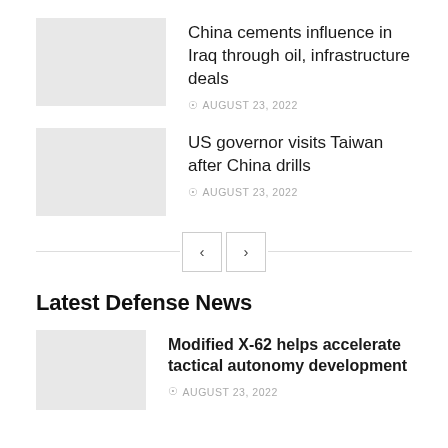[Figure (photo): Thumbnail image placeholder for news article 1]
China cements influence in Iraq through oil, infrastructure deals
AUGUST 23, 2022
[Figure (photo): Thumbnail image placeholder for news article 2]
US governor visits Taiwan after China drills
AUGUST 23, 2022
< >
Latest Defense News
[Figure (photo): Thumbnail image placeholder for news article 3]
Modified X-62 helps accelerate tactical autonomy development
AUGUST 23, 2022